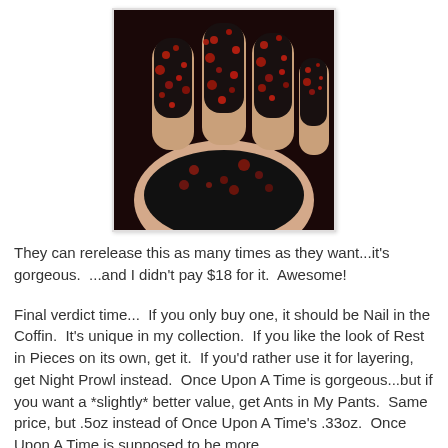[Figure (photo): Close-up photo of fingers with black nail polish featuring red glitter/flakes pattern, shown against a dark background]
They can rerelease this as many times as they want...it's gorgeous.  ...and I didn't pay $18 for it.  Awesome!
Final verdict time...  If you only buy one, it should be Nail in the Coffin.  It's unique in my collection.  If you like the look of Rest in Pieces on its own, get it.  If you'd rather use it for layering, get Night Prowl instead.  Once Upon A Time is gorgeous...but if you want a *slightly* better value, get Ants in My Pants.  Same price, but .5oz instead of Once Upon A Time's .33oz.  Once Upon A Time is supposed to be more